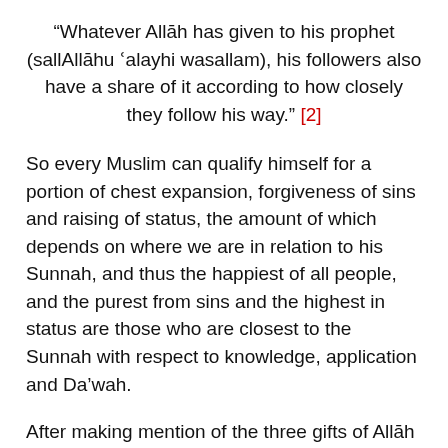“Whatever Allāh has given to his prophet (sallAllāhu ʿalayhi wasallam), his followers also have a share of it according to how closely they follow his way.” [2]
So every Muslim can qualify himself for a portion of chest expansion, forgiveness of sins and raising of status, the amount of which depends on where we are in relation to his Sunnah, and thus the happiest of all people, and the purest from sins and the highest in status are those who are closest to the Sunnah with respect to knowledge, application and Da’wah.
After making mention of the three gifts of Allāh upon His messenger and after stressing that relief is with difficulty, Allāh’s instructions to the Prophet (sallAllāhu ʿalayhi wasallam) are now issued, for the One who has given him all what was mentioned